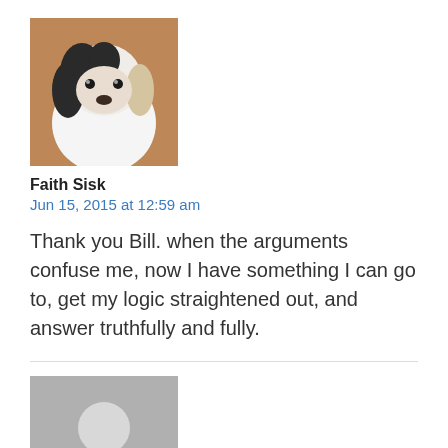[Figure (photo): Avatar photo of a dog (black and white spaniel puppy)]
Faith Sisk
Jun 15, 2015 at 12:59 am
Thank you Bill. when the arguments confuse me, now I have something I can go to, get my logic straightened out, and answer truthfully and fully.
[Figure (photo): Generic user avatar placeholder (grey silhouette)]
William Woods
Jun 15, 2015 at 10:13 am
The statistics for suicide and domestic violence